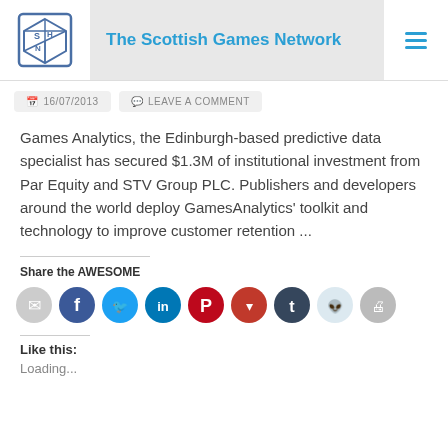The Scottish Games Network
16/07/2013   LEAVE A COMMENT
Games Analytics, the Edinburgh-based predictive data specialist has secured $1.3M of institutional investment from Par Equity and STV Group PLC. Publishers and developers around the world deploy GamesAnalytics' toolkit and technology to improve customer retention ...
Share the AWESOME
[Figure (infographic): Row of social media share icon buttons: email (grey), Facebook (blue), Twitter (cyan), LinkedIn (dark blue), Pinterest (red), Pocket (dark red), Tumblr (dark navy), Reddit (light blue), Print (grey)]
Like this:
Loading...